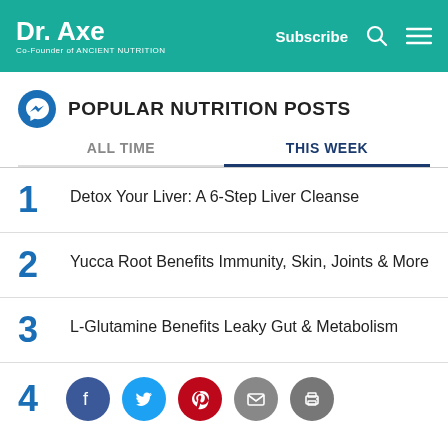Dr. Axe — Co-Founder of Ancient Nutrition | Subscribe
POPULAR NUTRITION POSTS
ALL TIME | THIS WEEK
1 Detox Your Liver: A 6-Step Liver Cleanse
2 Yucca Root Benefits Immunity, Skin, Joints & More
3 L-Glutamine Benefits Leaky Gut & Metabolism
4